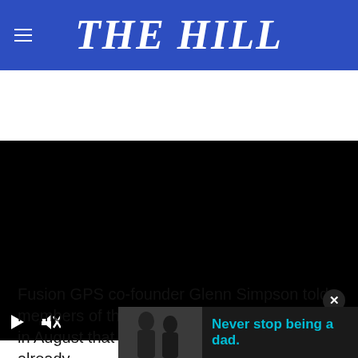THE HILL
[Figure (screenshot): Embedded video player with black screen, play button, mute button, and fullscreen icon on dark background]
Fusion GPS co-founder Glenn Simpson told members of the Senate Judiciary Committee in August that law enforcement officials had already... Trump's team... Steele